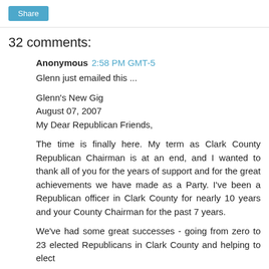[Figure (other): Share button — blue rounded rectangle with white text 'Share']
32 comments:
Anonymous 2:58 PM GMT-5
Glenn just emailed this ...

Glenn's New Gig
August 07, 2007
My Dear Republican Friends,

The time is finally here. My term as Clark County Republican Chairman is at an end, and I wanted to thank all of you for the years of support and for the great achievements we have made as a Party. I've been a Republican officer in Clark County for nearly 10 years and your County Chairman for the past 7 years.

We've had some great successes - going from zero to 23 elected Republicans in Clark County and helping to elect the first Republican congressman to come from our area in